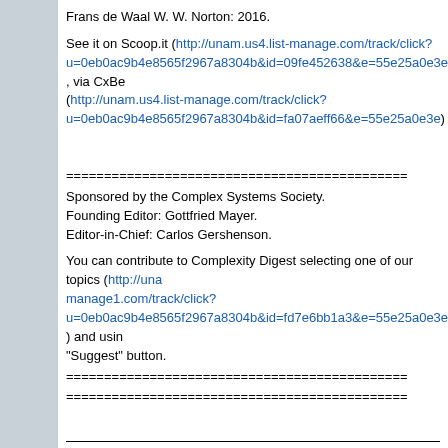Frans de Waal W. W. Norton: 2016.
See it on Scoop.it (http://unam.us4.list-manage.com/track/click?u=0eb0ac9b4e8565f2967a8304b&id=09fe452638&e=55e25a0e3e) , via CxBe (http://unam.us4.list-manage.com/track/click?u=0eb0ac9b4e8565f2967a8304b&id=fa07aeff66&e=55e25a0e3e)
=============================================
Sponsored by the Complex Systems Society.
Founding Editor: Gottfried Mayer.
Editor-in-Chief: Carlos Gershenson.
You can contribute to Complexity Digest selecting one of our topics (http://unam.us4.list-manage1.com/track/click?u=0eb0ac9b4e8565f2967a8304b&id=fd7e6bb1a3&e=55e25a0e3e ) and using the "Suggest" button.
=============================================
=============================================
SOCNET is a service of INSNA, the professional association for social network researchers (http://www.insna.org). To unsubscribe, send an email message to [log in to unmask] containing the line UNSUBSCRIBE SOCNET in the body of the message.
Top of Message | Previous Page | Permalink